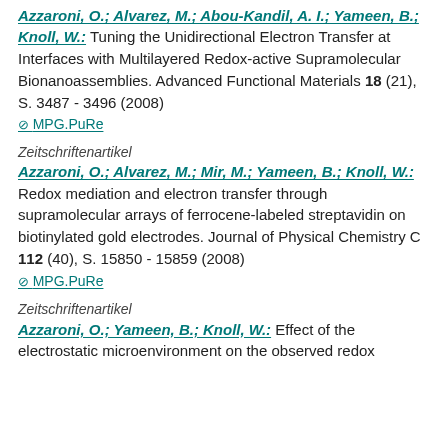Azzaroni, O.; Alvarez, M.; Abou-Kandil, A. I.; Yameen, B.; Knoll, W.: Tuning the Unidirectional Electron Transfer at Interfaces with Multilayered Redox-active Supramolecular Bionanoassemblies. Advanced Functional Materials 18 (21), S. 3487 - 3496 (2008)
MPG.PuRe
Zeitschriftenartikel
Azzaroni, O.; Alvarez, M.; Mir, M.; Yameen, B.; Knoll, W.: Redox mediation and electron transfer through supramolecular arrays of ferrocene-labeled streptavidin on biotinylated gold electrodes. Journal of Physical Chemistry C 112 (40), S. 15850 - 15859 (2008)
MPG.PuRe
Zeitschriftenartikel
Azzaroni, O.; Yameen, B.; Knoll, W.: Effect of the electrostatic microenvironment on the observed redox